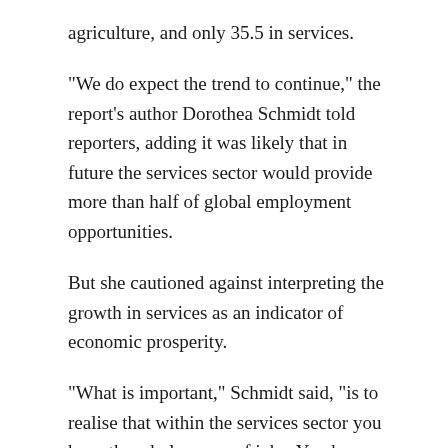agriculture, and only 35.5 in services.
"We do expect the trend to continue," the report's author Dorothea Schmidt told reporters, adding it was likely that in future the services sector would provide more than half of global employment opportunities.
But she cautioned against interpreting the growth in services as an indicator of economic prosperity.
"What is important," Schmidt said, "is to realise that within the services sector you have the whole range of jobs. You have very low productivity jobs and you have extremely high-productivity jobs."
The trend towards work shifting from agriculture to services was particularly pronounced in Asia, Latin